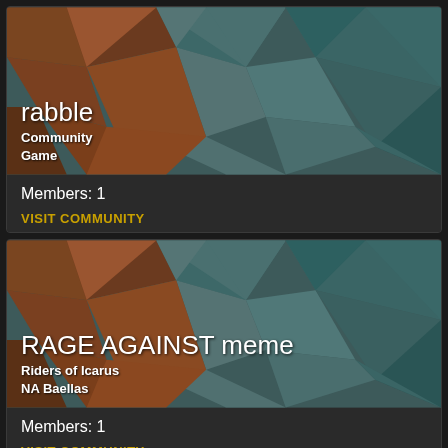[Figure (screenshot): Community card for 'rabble' game community with low-poly geometric background image in teal/orange tones. Shows title 'rabble', subtitle 'Community Game', Members: 1, and VISIT COMMUNITY link.]
rabble
Community Game
Members: 1
VISIT COMMUNITY
[Figure (screenshot): Community card for 'RAGE AGAINST meme' from Riders of Icarus NA Baellas with low-poly geometric background image in teal/orange tones. Shows title, subtitle, Members: 1, and VISIT COMMUNITY link.]
RAGE AGAINST meme
Riders of Icarus
NA Baellas
Members: 1
VISIT COMMUNITY